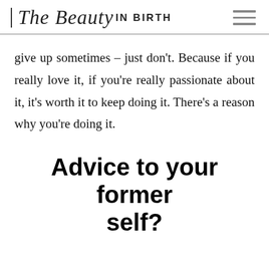The Beauty IN BIRTH
give up sometimes – just don't. Because if you really love it, if you're really passionate about it, it's worth it to keep doing it. There's a reason why you're doing it.
Advice to your former self?